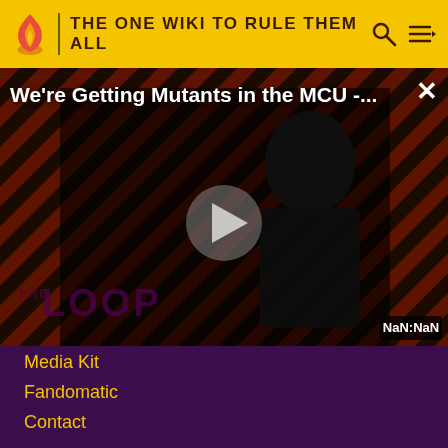THE ONE WIKI TO RULE THEM ALL
[Figure (screenshot): Video player showing 'We're Getting Mutants in the MCU -...' with a play button overlay, diagonal stripe background in red/dark, a man in suit visible, THE LOOP watermark, and NaN:NaN timer badge. Close button X in top right.]
Media Kit
Fandomatic
Contact